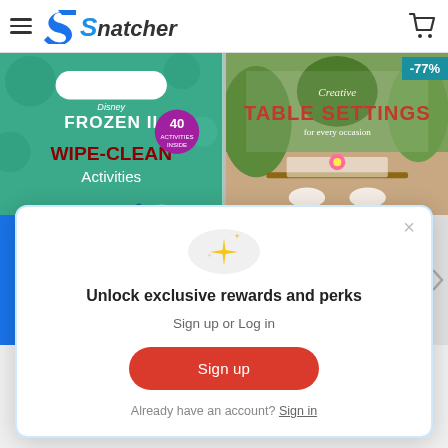Snatcher - navigation header with hamburger menu and cart icon
[Figure (screenshot): Disney Frozen II Wipe-Clean Activities book cover - green background with Frozen characters and '40 activities inside' badge]
[Figure (screenshot): Table Settings book cover with -77% discount badge in teal]
[Figure (screenshot): Modal popup with sparkle emoji icon, unlock rewards message, Sign up button and Sign in link]
Unlock exclusive rewards and perks
Sign up or Log in
Sign up
Already have an account? Sign in